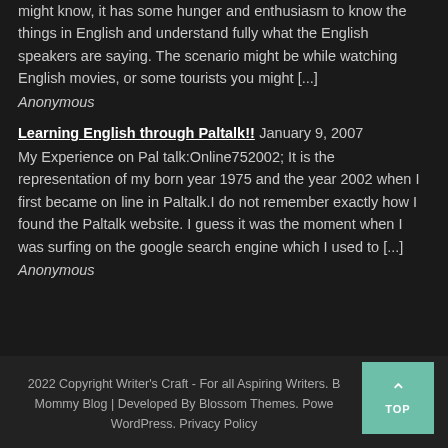might know, it has some hunger and enthusiasm to know the things in English and understand fully what the English speakers are saying. The scenario might be while watching English movies, or some tourists you might [...]
Anonymous
Learning English through Paltalk!! January 9, 2007
My Experience on Pal talk:Online752002; It is the representation of my born year 1975 and the year 2002 when I first became on line in Paltalk.I do not remember exactly how I found the Paltalk website. I guess it was the moment when I was surfing on the google search engine which I used to [...]
Anonymous
2022 Copyright Writer's Craft - For all Aspiring Writers. Blossom Mommy Blog | Developed By Blossom Themes. Powered by WordPress. Privacy Policy